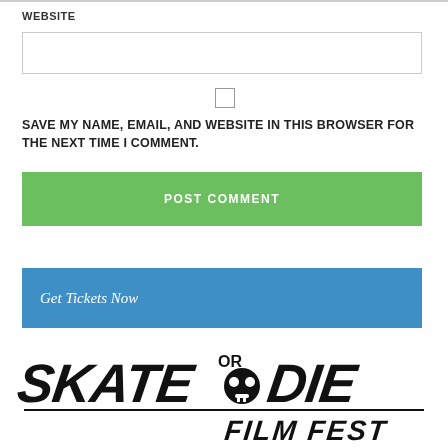WEBSITE
[Figure (screenshot): Website text input field (empty)]
[Figure (screenshot): Checkbox (unchecked)]
SAVE MY NAME, EMAIL, AND WEBSITE IN THIS BROWSER FOR THE NEXT TIME I COMMENT.
POST COMMENT
Get Tickets Now
[Figure (logo): Skate or Die Film Fest logo in bold grunge lettering with skull graphic]